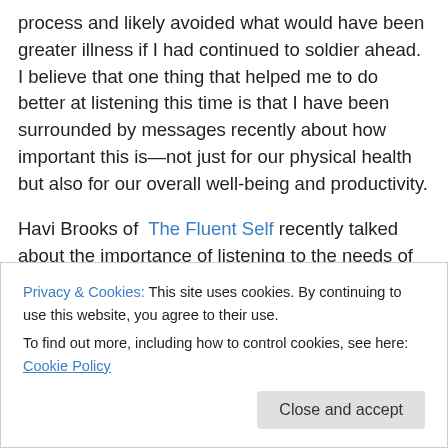process and likely avoided what would have been greater illness if I had continued to soldier ahead. I believe that one thing that helped me to do better at listening this time is that I have been surrounded by messages recently about how important this is—not just for our physical health but also for our overall well-being and productivity.
Havi Brooks of The Fluent Self recently talked about the importance of listening to the needs of one's body and acting on them in her post The unhosile takeover. As she points out, it is very easy to think that we know what our
Privacy & Cookies: This site uses cookies. By continuing to use this website, you agree to their use.
To find out more, including how to control cookies, see here: Cookie Policy
Close and accept